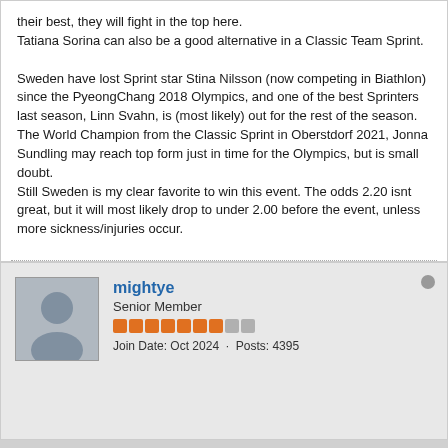their best, they will fight in the top here.
Tatiana Sorina can also be a good alternative in a Classic Team Sprint.

Sweden have lost Sprint star Stina Nilsson (now competing in Biathlon) since the PyeongChang 2018 Olympics, and one of the best Sprinters last season, Linn Svahn, is (most likely) out for the rest of the season. The World Champion from the Classic Sprint in Oberstdorf 2021, Jonna Sundling may reach top form just in time for the Olympics, but is small doubt.
Still Sweden is my clear favorite to win this event. The odds 2.20 isnt great, but it will most likely drop to under 2.00 before the event, unless more sickness/injuries occur.

Pick: Sweden, 4/10 stakes, odds 2.20@Unibet.
Pick: Sweden, 6/10 stakes, odds 2.20@Expekt.

Good luck!
mightye
Senior Member
Join Date: Oct 2024 · Posts: 4385